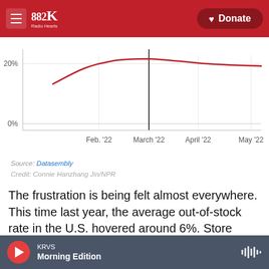882 KRVS Radio Hearts — Donate
[Figure (continuous-plot): Line chart showing out-of-stock rate over time from approximately January 2022 to May 2022. The red line rises from about 20% and peaks around 20-21% near March 2022, then continues. A vertical black reference line is drawn at approximately March 2022. Y-axis shows 0% and 20%. X-axis labels: Feb. '22, March '22, April '22, May '22.]
Source: Datasembly
Credit: Connie Hanzhang Jin/NPR
The frustration is being felt almost everywhere. This time last year, the average out-of-stock rate in the U.S. hovered around 6%. Store shelves were practically full all of the time. By the end of the last full week in May, not a single state was below 15%
KRVS — Morning Edition